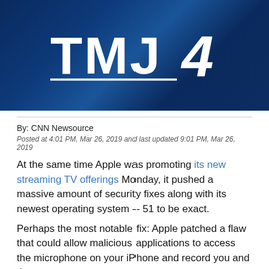[Figure (logo): TMJ4 news channel logo on dark blue background]
By: CNN Newsource
Posted at 4:01 PM, Mar 26, 2019 and last updated 9:01 PM, Mar 26, 2019
At the same time Apple was promoting its new streaming TV offerings Monday, it pushed a massive amount of security fixes along with its newest operating system -- 51 to be exact.
Perhaps the most notable fix: Apple patched a flaw that could allow malicious applications to access the microphone on your iPhone and record you and those